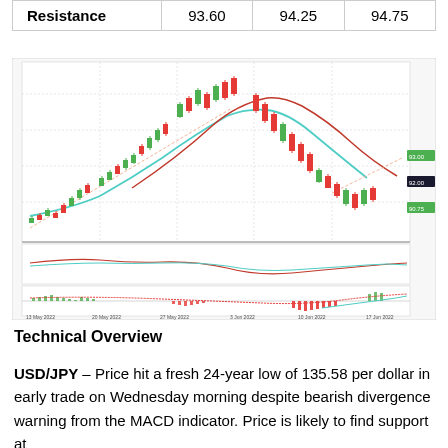|  |  |  |  |
| --- | --- | --- | --- |
| Resistance | 93.60 | 94.25 | 94.75 |
[Figure (continuous-plot): USD/JPY 4-hour candlestick chart with moving average lines (teal and red) and MACD indicator panel below. Chart shows a rise then fall in price with bearish divergence. Date range spans from approximately May to mid-June 2022.]
Technical Overview
USD/JPY – Price hit a fresh 24-year low of 135.58 per dollar in early trade on Wednesday morning despite bearish divergence warning from the MACD indicator. Price is likely to find support at